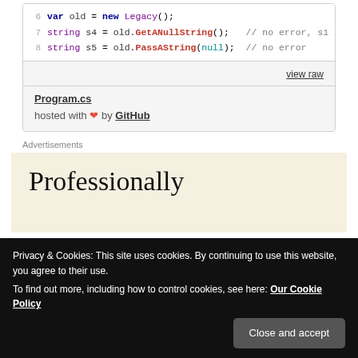[Figure (screenshot): Code snippet showing C# lines: 'var old = new Legacy();', 'string s4 = old.GetANullString(); // no error, s1 is', 'string s5 = old.PassAString(null); // no error' with syntax highlighting. Below code, a 'view raw' link. Then 'Program.cs' link and 'hosted with heart by GitHub'.]
Advertisements
[Figure (screenshot): Advertisement box with beige background showing the word 'Professionally' in large serif font, partially visible.]
Privacy & Cookies: This site uses cookies. By continuing to use this website, you agree to their use.
To find out more, including how to control cookies, see here: Our Cookie Policy